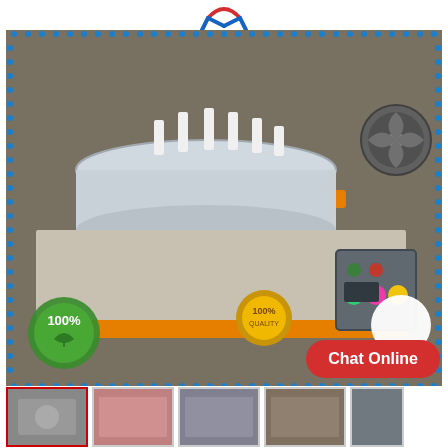[Figure (logo): Red and blue M-shaped logo at top center]
[Figure (photo): Industrial rotary machine with orange and silver metal parts, control panel with colored buttons (green, pink, yellow), 100% green leaf badge overlay, gold 100% badge overlay, white circle overlay, blue dotted border frame]
[Figure (photo): Chat Online red button overlay on lower right of main image]
[Figure (photo): Row of product thumbnail images at bottom: first thumbnail with red border (active), followed by three more thumbnails, and a partial thumbnail on far right]